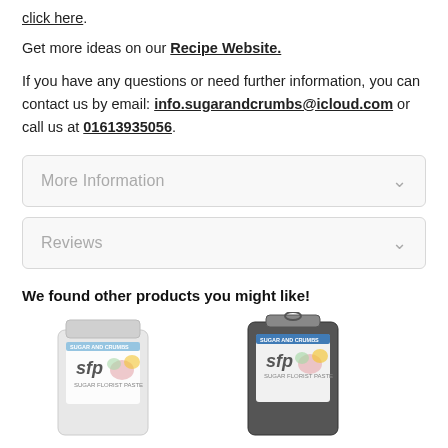click here.
Get more ideas on our Recipe Website.
If you have any questions or need further information, you can contact us by email: info.sugarandcrumbs@icloud.com or call us at 01613935056.
More Information
Reviews
We found other products you might like!
[Figure (photo): Two product bags of SFP sugar florist paste, one white and one dark/silver, shown side by side as product recommendations.]